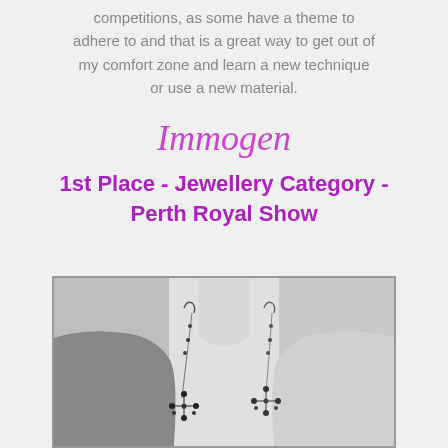competitions, as some have a theme to adhere to and that is a great way to get out of my comfort zone and learn a new technique or use a new material.
Immogen
1st Place - Jewellery Category - Perth Royal Show
[Figure (photo): Black and white photo of a mannequin bust displaying dangling wire and bead earrings against a grey background. The earrings have intricate wire-work with small dark beads arranged in a cross/flower pattern at the bottom.]